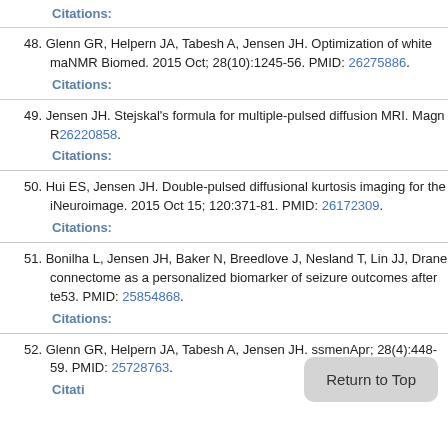Citations:
48. Glenn GR, Helpern JA, Tabesh A, Jensen JH. Optimization of white ma... NMR Biomed. 2015 Oct; 28(10):1245-56. PMID: 26275886.
Citations:
49. Jensen JH. Stejskal's formula for multiple-pulsed diffusion MRI. Magn R... 26220858.
Citations:
50. Hui ES, Jensen JH. Double-pulsed diffusional kurtosis imaging for the i... Neuroimage. 2015 Oct 15; 120:371-81. PMID: 26172309.
Citations:
51. Bonilha L, Jensen JH, Baker N, Breedlove J, Nesland T, Lin JJ, Drane... connectome as a personalized biomarker of seizure outcomes after te... 53. PMID: 25854868.
Citations:
52. Glenn GR, Helpern JA, Tabesh A, Jensen JH. ...sment... Apr; 28(4):448-59. PMID: 25728763.
Citations: